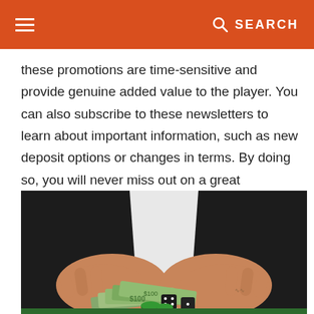≡  SEARCH
these promotions are time-sensitive and provide genuine added value to the player. You can also subscribe to these newsletters to learn about important information, such as new deposit options or changes in terms. By doing so, you will never miss out on a great promotion again. It's not difficult to find an online casino newsletter.
[Figure (photo): A person in a dark suit with both hands outstretched over a pile of cash (US dollar bills) and black and green casino chips on a green surface, viewed from the chest down.]